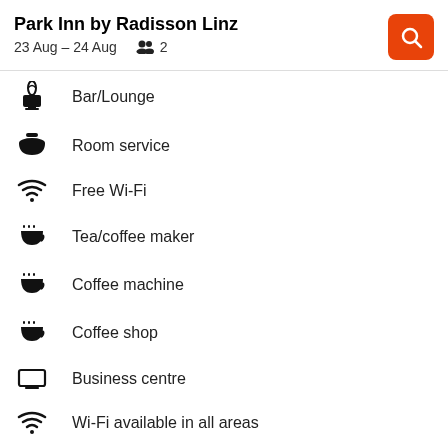Park Inn by Radisson Linz
23 Aug – 24 Aug  👥 2
Bar/Lounge
Room service
Free Wi-Fi
Tea/coffee maker
Coffee machine
Coffee shop
Business centre
Wi-Fi available in all areas
Show all 129 amenities